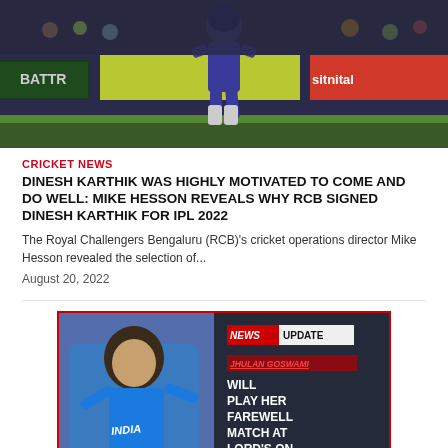[Figure (photo): Cricket player in blue/purple India uniform walking on cricket field with stadium advertisement boards in background]
CRICKET NEWS
DINESH KARTHIK WAS HIGHLY MOTIVATED TO COME AND DO WELL: MIKE HESSON REVEALS WHY RCB SIGNED DINESH KARTHIK FOR IPL 2022
The Royal Challengers Bengaluru (RCB)'s cricket operations director Mike Hesson revealed the selection of...
August 20, 2022
[Figure (photo): News update graphic showing a female Indian cricket player celebrating, with text overlay: JHULAN GOSWAMI WILL PLAY HER FAREWELL MATCH AT LORD'S ON 24TH SEPTEMBER. News Update badge in top right.]